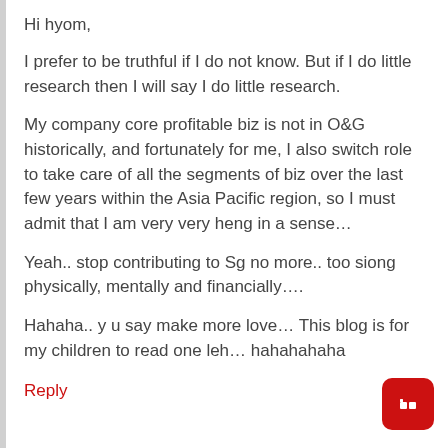Hi hyom,
I prefer to be truthful if I do not know. But if I do little research then I will say I do little research.
My company core profitable biz is not in O&G historically, and fortunately for me, I also switch role to take care of all the segments of biz over the last few years within the Asia Pacific region, so I must admit that I am very very heng in a sense…
Yeah.. stop contributing to Sg no more.. too siong physically, mentally and financially….
Hahaha.. y u say make more love… This blog is for my children to read one leh… hahahahaha
Reply